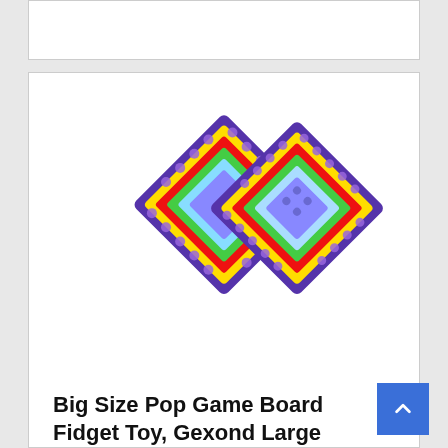[Figure (photo): Colorful rainbow pop game board fidget toy shaped like two overlapping diamond/square boards with blue center and rainbow-colored pop bubbles around the edges]
Big Size Pop Game Board Fidget Toy, Gexond Large Rainbow Pop Chess Board for 4 Players Games – Interactive Jumboo Stress Relief Pop